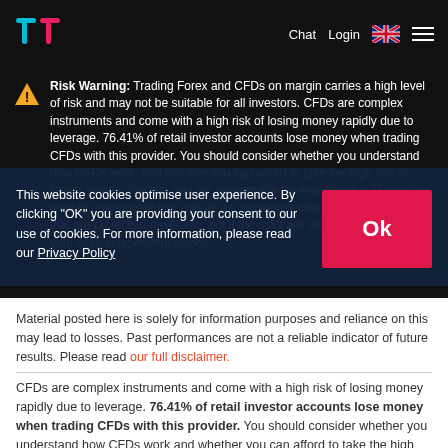TT logo | Chat  Login  [UK flag]  [menu]
Risk Warning: Trading Forex and CFDs on margin carries a high level of risk and may not be suitable for all investors. CFDs are complex instruments and come with a high risk of losing money rapidly due to leverage. 76.41% of retail investor accounts lose money when trading CFDs with this provider. You should consider whether you understand how CFDs work, and whether you can afford to take the high risk of losing your money. Trading, you are responsible for ensuring that TI has the level of and provide you with all the necessary protective measures, but if the risks are still unacceptable to you, seek independent advice.
This website cookies optimise user experience. By clicking "OK" you are providing your consent to our use of cookies. For more information, please read our Privacy Policy
Material posted here is solely for information purposes and reliance on this may lead to losses. Past performances are not a reliable indicator of future results. Please read our full disclaimer.
CFDs are complex instruments and come with a high risk of losing money rapidly due to leverage. 76.41% of retail investor accounts lose money when trading CFDs with this provider. You should consider whether you understand how CFDs work and whether you can afford to take the high risk of losing your money.